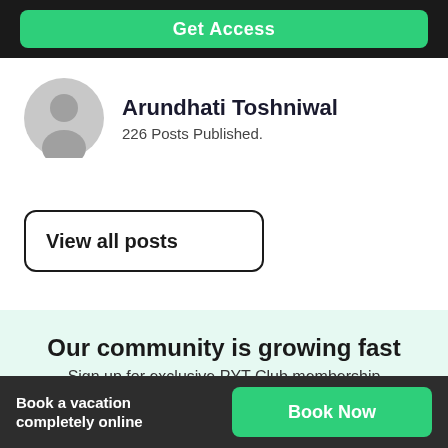[Figure (screenshot): Green 'Get Access' button on black background bar at top]
Arundhati Toshniwal
226 Posts Published.
View all posts
Our community is growing fast
Sign up for exclusive PYT Club membership
Book a vacation completely online
Book Now